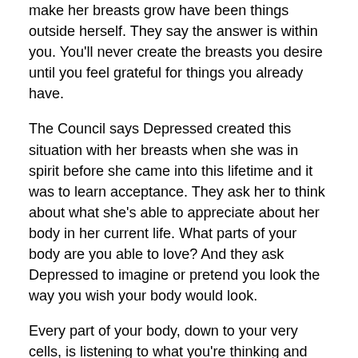make her breasts grow have been things outside herself. They say the answer is within you. You'll never create the breasts you desire until you feel grateful for things you already have.
The Council says Depressed created this situation with her breasts when she was in spirit before she came into this lifetime and it was to learn acceptance. They ask her to think about what she's able to appreciate about her body in her current life. What parts of your body are you able to love? And they ask Depressed to imagine or pretend you look the way you wish your body would look.
Every part of your body, down to your very cells, is listening to what you're thinking and the universe will give you what you focus your attention on. If your focus is negative the universe will offer you what you consider negative experiences, and if your focus is positive the universe will offer you positive experiences. If you're miserable and can't accept your body, and you think about these things over and over, the universe will say, “Oh, this is making her miserable and she doesn’t like the way this looks. Let’s give her some more.”